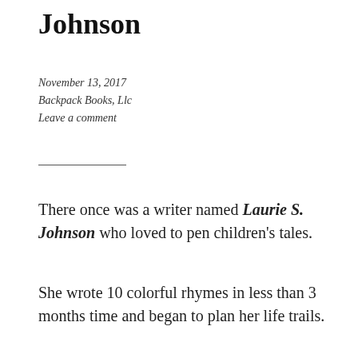Johnson
November 13, 2017
Backpack Books, Llc
Leave a comment
There once was a writer named Laurie S. Johnson who loved to pen children’s tales.
She wrote 10 colorful rhymes in less than 3 months time and began to plan her life trails.